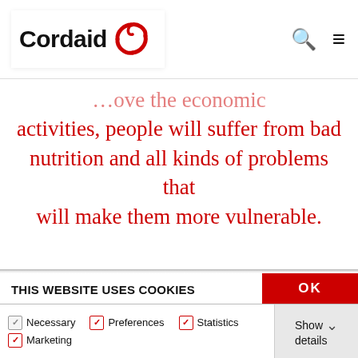[Figure (logo): Cordaid logo with red swirl icon and bold black text 'Cordaid']
…ove the economic activities, people will suffer from bad nutrition and all kinds of problems that will make them more vulnerable.
THIS WEBSITE USES COOKIES
We use cookies to personalise content and ads, to provide social media features and to analyse our traffic. We also share information about your use of our site with our social media, advertising and analytics partners who may combine it with other information that you've provided to them or that they've collected from your use of their services. You consent to our cookies if you continue to use our website.
OK
Necessary   Preferences   Statistics   Marketing   Show details